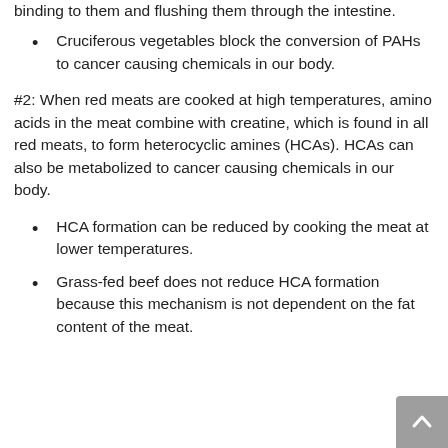binding to them and flushing them through the intestine.
Cruciferous vegetables block the conversion of PAHs to cancer causing chemicals in our body.
#2: When red meats are cooked at high temperatures, amino acids in the meat combine with creatine, which is found in all red meats, to form heterocyclic amines (HCAs). HCAs can also be metabolized to cancer causing chemicals in our body.
HCA formation can be reduced by cooking the meat at lower temperatures.
Grass-fed beef does not reduce HCA formation because this mechanism is not dependent on the fat content of the meat.